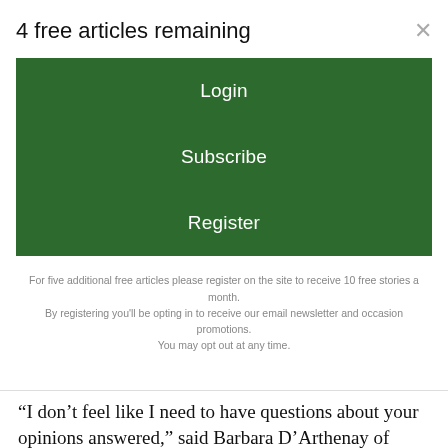4 free articles remaining
[Figure (screenshot): Green Login button]
[Figure (screenshot): Green Subscribe button]
[Figure (screenshot): Green Register button]
For five additional free articles please register on the site to receive 10 free stories a month. By registering you'll be opting in to receive our email newsletter and occasion promotions. You may opt out at any time.
“I don’t feel like I need to have questions about your opinions answered,” said Barbara D’Arthenay of Leverett, “Just being in our presence, I feel like I’m getting to know you